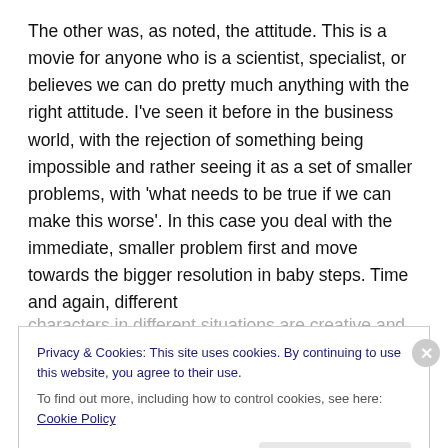The other was, as noted, the attitude. This is a movie for anyone who is a scientist, specialist, or believes we can do pretty much anything with the right attitude. I've seen it before in the business world, with the rejection of something being impossible and rather seeing it as a set of smaller problems, with 'what needs to be true if we can make this worse'. In this case you deal with the immediate, smaller problem first and move towards the bigger resolution in baby steps. Time and again, different characters in different situations are creative and
Privacy & Cookies: This site uses cookies. By continuing to use this website, you agree to their use.
To find out more, including how to control cookies, see here: Cookie Policy
Close and accept